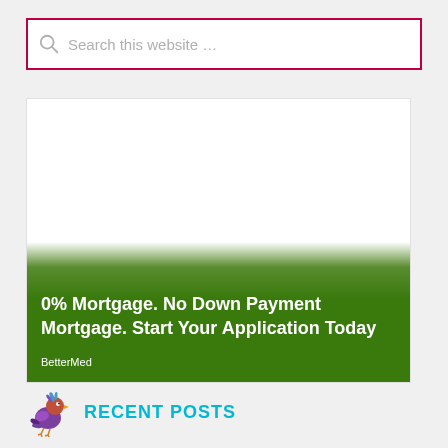Search this website …
[Figure (screenshot): Advertisement banner for a mortgage product with green gradient background. Text reads: '0% Mortgage. No Down Payment Mortgage. Start Your Application Today' with brand name 'BetterMed'.]
RECENT POSTS